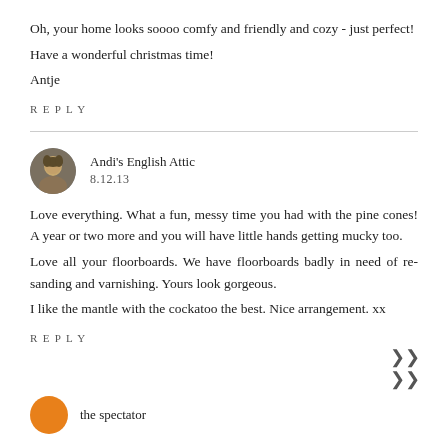Oh, your home looks soooo comfy and friendly and cozy - just perfect!
Have a wonderful christmas time!
Antje
REPLY
Andi's English Attic
8.12.13
Love everything. What a fun, messy time you had with the pine cones! A year or two more and you will have little hands getting mucky too.
Love all your floorboards. We have floorboards badly in need of re-sanding and varnishing. Yours look gorgeous.
I like the mantle with the cockatoo the best. Nice arrangement. xx
REPLY
the spectator